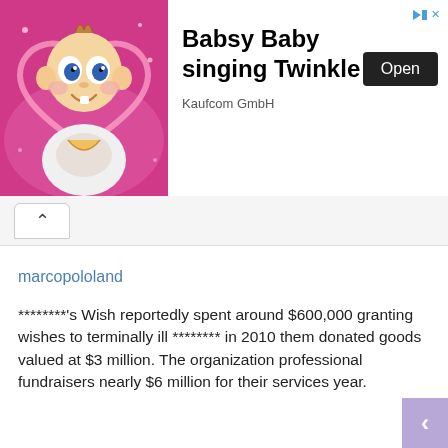[Figure (screenshot): Ad banner with animated baby character on pink background. Shows 'Babsy Baby singing Twinkle' app ad with Open button and Kaufcom GmbH developer name.]
marcopololand
********'s Wish reportedly spent around $600,000 granting wishes to terminally ill ******** in 2010 them donated goods valued at $3 million. The organization professional fundraisers nearly $6 million for their services year.